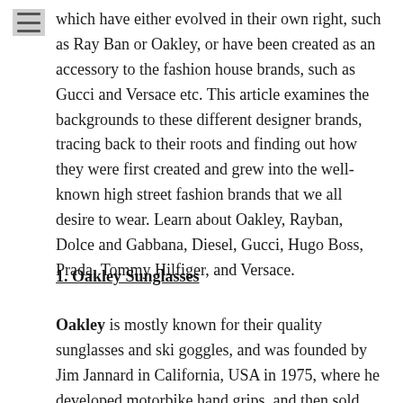which have either evolved in their own right, such as Ray Ban or Oakley, or have been created as an accessory to the fashion house brands, such as Gucci and Versace etc. This article examines the backgrounds to these different designer brands, tracing back to their roots and finding out how they were first created and grew into the well-known high street fashion brands that we all desire to wear. Learn about Oakley, Rayban, Dolce and Gabbana, Diesel, Gucci, Hugo Boss, Prada, Tommy Hilfiger, and Versace.
1. Oakley Sunglasses
Oakley is mostly known for their quality sunglasses and ski goggles, and was founded by Jim Jannard in California, USA in 1975, where he developed motorbike hand grips, and then sold them at motocross events. He called them "The Oakley Grip", and were very different to any other grips riders had been using. In the 1980's he moved on to goggles and sunglasses, and is now a world leader in innovative design, creating new and exciting